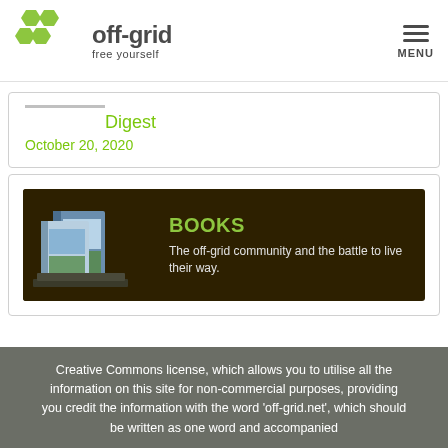off-grid free yourself | MENU
Digest
October 20, 2020
[Figure (illustration): Books banner with dark brown background showing stacked book covers on the left and text 'BOOKS' in green with subtitle 'The off-grid community and the battle to live their way.']
Creative Commons license, which allows you to utilise all the information on this site for non-commercial purposes, providing you credit the information with the word 'off-grid.net', which should be written as one word and accompanied